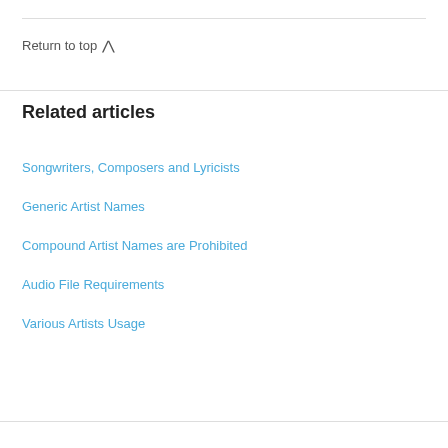Return to top ∧
Related articles
Songwriters, Composers and Lyricists
Generic Artist Names
Compound Artist Names are Prohibited
Audio File Requirements
Various Artists Usage